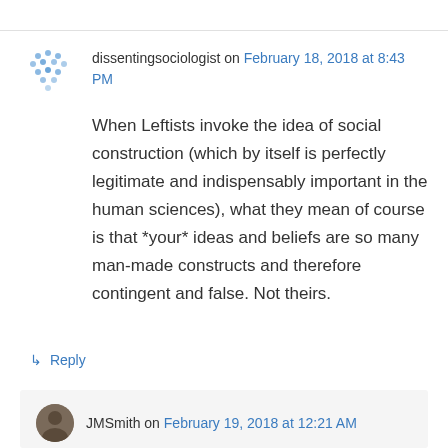dissentingsociologist on February 18, 2018 at 8:43 PM
When Leftists invoke the idea of social construction (which by itself is perfectly legitimate and indispensably important in the human sciences), what they mean of course is that *your* ideas and beliefs are so many man-made constructs and therefore contingent and false. Not theirs.
↳ Reply
JMSmith on February 19, 2018 at 12:21 AM